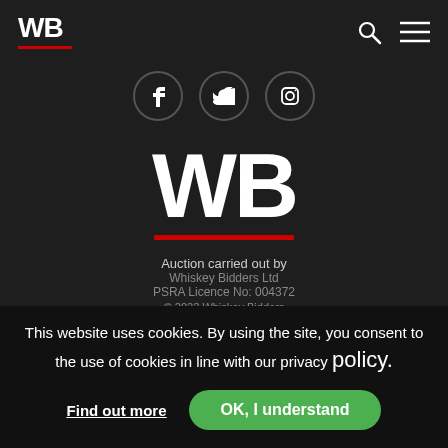[Figure (logo): WB logo with red underline bar in top left corner of navigation bar]
[Figure (infographic): Search icon (magnifying glass) and hamburger menu icon on the right side of nav bar]
[Figure (infographic): Three social media icon circles: Facebook (f), Twitter (bird), Instagram (camera)]
[Figure (logo): Large WB logo centered with red underline bar below]
Auction carried out by
Whiskey Bidders Ltd
PSRA Licence No: 004372
© 2022 Whiskey Bidders
Website by
This website uses cookies. By using the site, you consent to the use of cookies in line with our privacy policy.
Find out more
OK, I understand